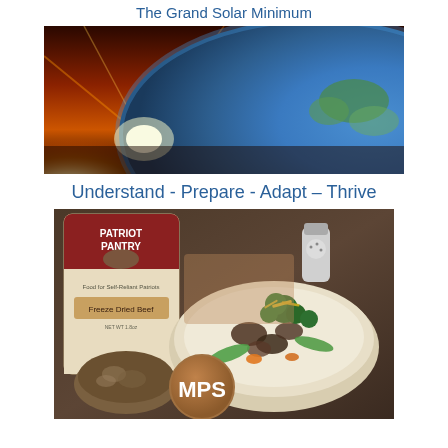The Grand Solar Minimum
[Figure (photo): Space view of Earth with bright sunlight/solar flare visible at the horizon against a dark orange/red sky, showing the curvature of the Earth with blue ocean and green landmass.]
Understand - Prepare - Adapt – Thrive
[Figure (photo): Patriot Pantry freeze-dried beef package alongside a bowl of food with broccoli, beef, carrots, peas and cheese over rice, with a small bowl of ground meat, an MPS logo circle, and a salt shaker in the background.]